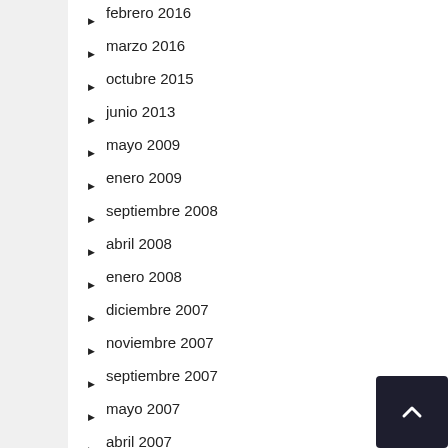febrero 2016
marzo 2016
octubre 2015
junio 2013
mayo 2009
enero 2009
septiembre 2008
abril 2008
enero 2008
diciembre 2007
noviembre 2007
septiembre 2007
mayo 2007
abril 2007
marzo 2006
enero 2006
mayo 2005
diciembre 2004
junio 2004